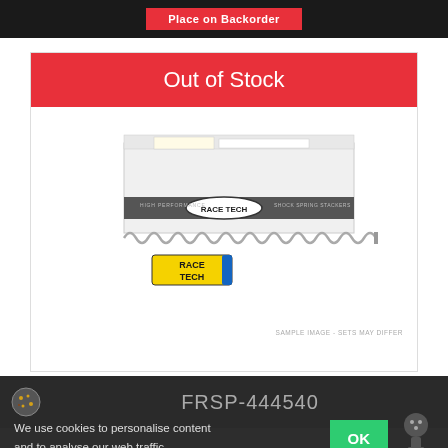Place on Backorder
Out of Stock
[Figure (photo): Race Tech fork spring product photo showing a metal coil spring and product box with Race Tech branding and yellow logo sticker]
SAMPLE IMAGE - SETS MAY DIFFER
FRSP-444540
We use cookies to personalise content and to analyse our web traffic.